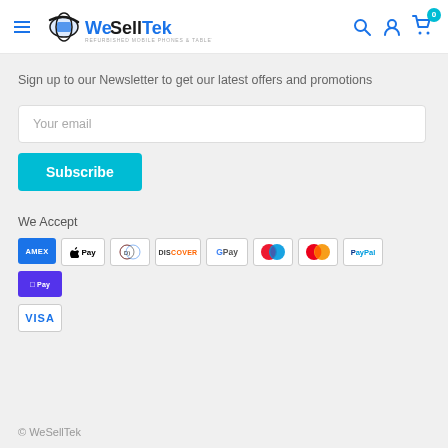WeSellTek — REFURBISHED MOBILE PHONES & TABLETS
Sign up to our Newsletter to get our latest offers and promotions
Your email
Subscribe
We Accept
[Figure (illustration): Payment method icons: AMEX, Apple Pay, Diners Club, Discover, Google Pay, Maestro, Mastercard, PayPal, Shop Pay, Visa]
© WeSellTek